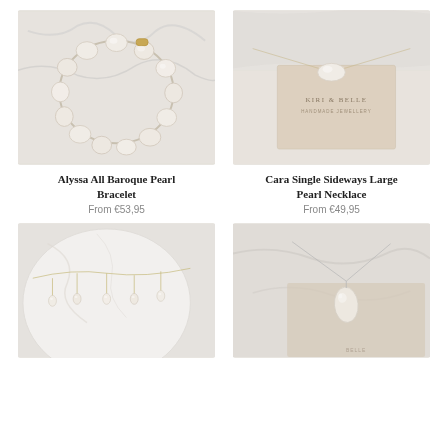[Figure (photo): Baroque pearl bracelet with gold clasp on marble/stone surface]
[Figure (photo): Single sideways large pearl on a delicate chain necklace with Kiri & Belle branded card and pouch]
Alyssa All Baroque Pearl Bracelet
From €53,95
Cara Single Sideways Large Pearl Necklace
From €49,95
[Figure (photo): Delicate multi-drop pearl necklace on marble surface]
[Figure (photo): Single teardrop pearl pendant necklace on Kiri & Belle branded card]